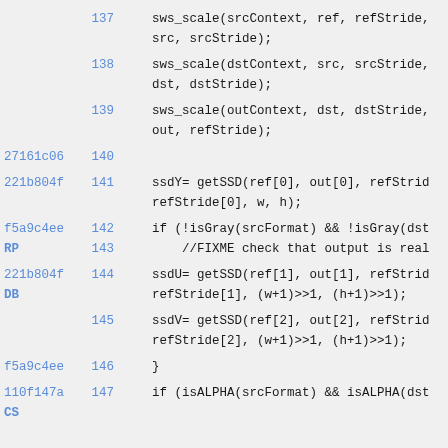137    sws_scale(srcContext, ref, refStride, src, srcStride);
138    sws_scale(dstContext, src, srcStride, dst, dstStride);
139    sws_scale(outContext, dst, dstStride, out, refStride);
27161c06 140
221b804f 141    ssdY= getSSD(ref[0], out[0], refStrid refStride[0], w, h);
f5a9c4ee RP 142    if (!isGray(srcFormat) && !isGray(dst
143    //FIXME check that output is real
221b804f DB 144    ssdU= getSSD(ref[1], out[1], refStrid refStride[1], (w+1)>>1, (h+1)>>1);
145    ssdV= getSSD(ref[2], out[2], refStrid refStride[2], (w+1)>>1, (h+1)>>1);
f5a9c4ee 146    }
110f147a CS 147    if (isALPHA(srcFormat) && isALPHA(dst